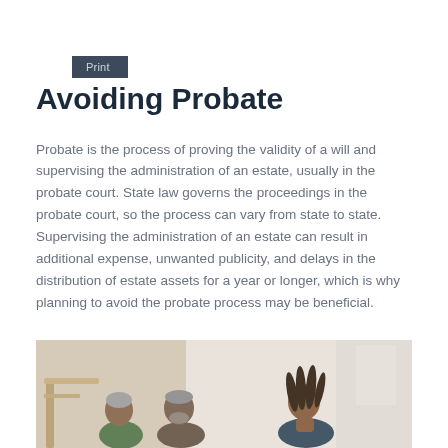Print
Avoiding Probate
Probate is the process of proving the validity of a will and supervising the administration of an estate, usually in the probate court. State law governs the proceedings in the probate court, so the process can vary from state to state. Supervising the administration of an estate can result in additional expense, unwanted publicity, and delays in the distribution of estate assets for a year or longer, which is why planning to avoid the probate process may be beneficial.
[Figure (photo): Photo of three people (two older adults and a younger woman with braids) having a conversation, likely in a home or office setting.]